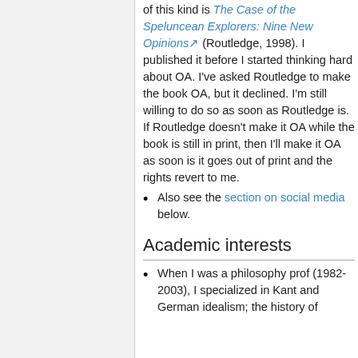of this kind is The Case of the Speluncean Explorers: Nine New Opinions (Routledge, 1998). I published it before I started thinking hard about OA. I've asked Routledge to make the book OA, but it declined. I'm still willing to do so as soon as Routledge is. If Routledge doesn't make it OA while the book is still in print, then I'll make it OA as soon is it goes out of print and the rights revert to me.
Also see the section on social media below.
Academic interests
When I was a philosophy prof (1982-2003), I specialized in Kant and German idealism; the history of